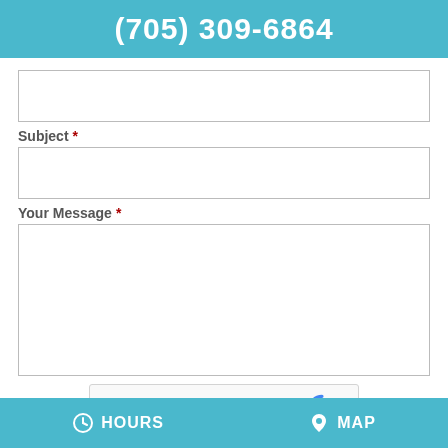(705) 309-6864
[Input field - unlabeled]
Subject *
[Subject input field]
Your Message *
[Message textarea]
[Figure (other): reCAPTCHA widget with checkbox labeled 'I'm not a robot', reCAPTCHA logo, Privacy and Terms links]
HOURS   MAP